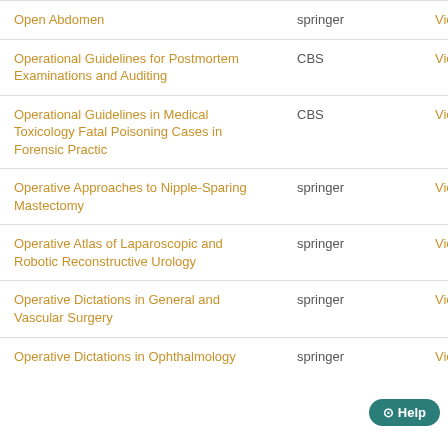| Title | Publisher | Action |
| --- | --- | --- |
| Open Abdomen | springer | View Details |
| Operational Guidelines for Postmortem Examinations and Auditing | CBS | View Details |
| Operational Guidelines in Medical Toxicology Fatal Poisoning Cases in Forensic Practic | CBS | View Details |
| Operative Approaches to Nipple-Sparing Mastectomy | springer | View Details |
| Operative Atlas of Laparoscopic and Robotic Reconstructive Urology | springer | View Details |
| Operative Dictations in General and Vascular Surgery | springer | View Details |
| Operative Dictations in Ophthalmology | springer | View Details |